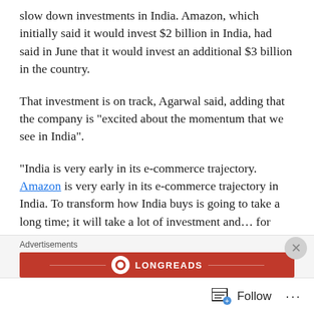slow down investments in India. Amazon, which initially said it would invest $2 billion in India, had said in June that it would invest an additional $3 billion in the country.
That investment is on track, Agarwal said, adding that the company is “excited about the momentum that we see in India”.
“India is very early in its e-commerce trajectory. Amazon is very early in its e-commerce trajectory in India. To transform how India buys is going to take a long time; it will take a lot of investment and… for many years. This is just the beginning.”
Amazon is betting big on its Prime service in India and expects the loyalty programme to dominate sales in the
Advertisements
[Figure (other): Longreads advertisement banner in red with circular logo and text LONGREADS]